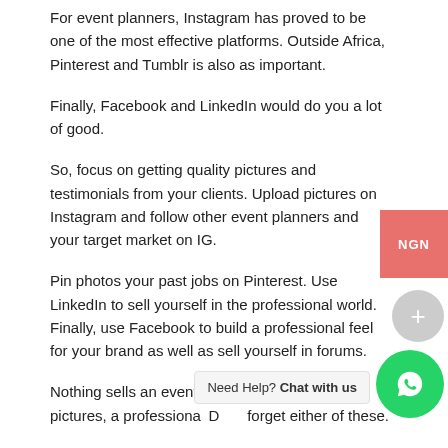For event planners, Instagram has proved to be one of the most effective platforms. Outside Africa, Pinterest and Tumblr is also as important.
Finally, Facebook and LinkedIn would do you a lot of good.
So, focus on getting quality pictures and testimonials from your clients. Upload pictures on Instagram and follow other event planners and your target market on IG.
Pin photos your past jobs on Pinterest. Use LinkedIn to sell yourself in the professional world. Finally, use Facebook to build a professional feel for your brand as well as sell yourself in forums.
Nothing sells an event planner more than good pictures, a professiona... Don't forget either of these.